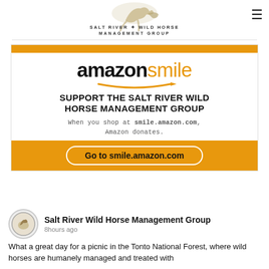[Figure (logo): Salt River Wild Horse Management Group logo with horse running and organization name text]
[Figure (infographic): Amazon Smile advertisement banner: orange top bar, Amazon Smile logo with arrow, text 'SUPPORT THE SALT RIVER WILD HORSE MANAGEMENT GROUP', subtext 'When you shop at smile.amazon.com, Amazon donates.', orange bottom bar with button 'Go to smile.amazon.com']
Salt River Wild Horse Management Group
8hours ago
What a great day for a picnic in the Tonto National Forest, where wild horses are humanely managed and treated with